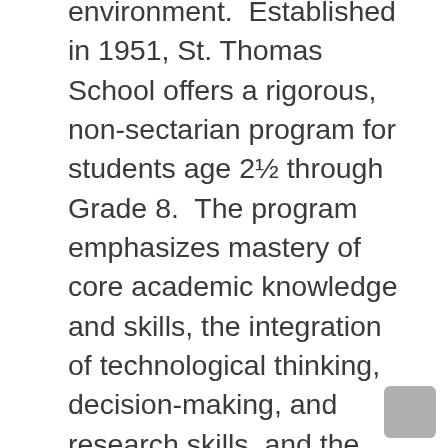environment.  Established in 1951, St. Thomas School offers a rigorous, non-sectarian program for students age 2½ through Grade 8.  The program emphasizes mastery of core academic knowledge and skills, the integration of technological thinking, decision-making, and research skills, and the development of character and core virtues.  The learning process is dynamic.  Teachers balance a traditional approach to skill and knowledge acquisition with an inquiry-based model that recognizes the importance of students constructing knowledge and “learning by doing.”  Class sizes are kept small so that students have maximum opportunities to interact with their teachers and one another.  Core subjects are organized within a framework of cross-disciplinary themes, which help students see connections across subjects and relate what they learn to life.  In addition, students participate in community service projects, gardening projects, and leadership opportunities.  Character development is emphasized daily.